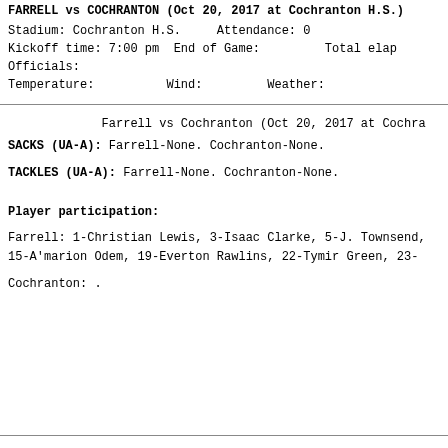FARRELL vs COCHRANTON (Oct 20, 2017 at Cochranton H.S.)
Stadium: Cochranton H.S.    Attendance: 0
Kickoff time: 7:00 pm  End of Game:         Total elap
Officials:
Temperature:          Wind:         Weather:
Farrell vs Cochranton (Oct 20, 2017 at Cochra
SACKS (UA-A): Farrell-None. Cochranton-None.
TACKLES (UA-A): Farrell-None. Cochranton-None.
Player participation:
Farrell: 1-Christian Lewis, 3-Isaac Clarke, 5-J. Townsend, 15-A'marion Odem, 19-Everton Rawlins, 22-Tymir Green, 23-
Cochranton: .